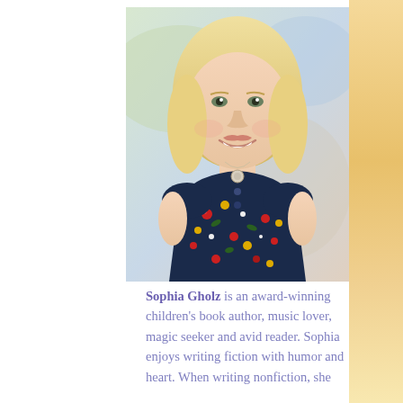[Figure (photo): Headshot photo of Sophia Gholz, a smiling blonde woman wearing a dark navy floral dress with red, yellow, and white flowers, and a silver pendant necklace. Background is soft/blurred outdoor setting.]
Sophia Gholz is an award-winning children's book author, music lover, magic seeker and avid reader. Sophia enjoys writing fiction with humor and heart. When writing nonfiction, she